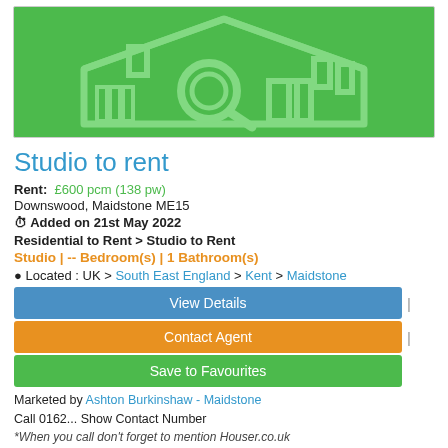[Figure (logo): Houser.co.uk logo on green background — stylized house outline with magnifying glass icon in light green on green background]
Studio to rent
Rent: £600 pcm (138 pw)
Downswood, Maidstone ME15
Added on 21st May 2022
Residential to Rent > Studio to Rent
Studio | -- Bedroom(s) | 1 Bathroom(s)
Located : UK > South East England > Kent > Maidstone
View Details
Contact Agent
Save to Favourites
Marketed by Ashton Burkinshaw - Maidstone
Call 0162... Show Contact Number
*When you call don't forget to mention Houser.co.uk